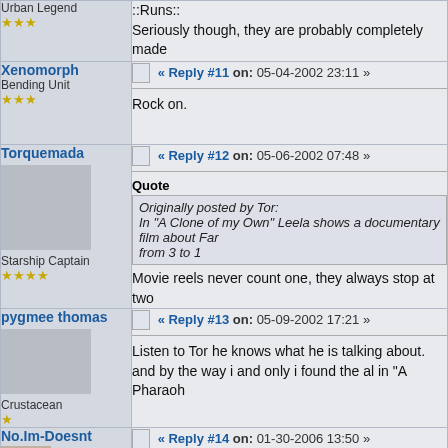::Runs:: Seriously though, they are probably completely made
Urban Legend ★★★
« Reply #11 on: 05-04-2002 23:11 »
Xenomorph
Bending Unit ★★★
Rock on.
« Reply #12 on: 05-06-2002 07:48 »
Torquemada
Starship Captain ★★★★
Quote: Originally posted by Tor: In "A Clone of my Own" Leela shows a documentary film about Farm from 3 to 1
Movie reels never count one, they always stop at two
« Reply #13 on: 05-09-2002 17:21 »
pygmee thomas
Crustacean ★
Listen to Tor he knows what he is talking about. and by the way i and only i found the al in "A Pharaoh
« Reply #14 on: 01-30-2006 13:50 »
No.Im-Doesnt